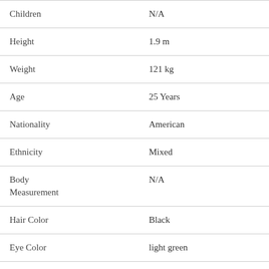| Field | Value |
| --- | --- |
| Children | N/A |
| Height | 1.9 m |
| Weight | 121 kg |
| Age | 25 Years |
| Nationality | American |
| Ethnicity | Mixed |
| Body Measurement | N/A |
| Hair Color | Black |
| Eye Color | light green |